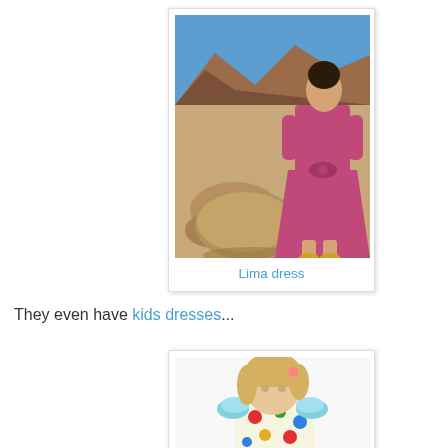[Figure (photo): Woman wearing a magenta/fuchsia dress with bow detail at waist, standing in a desert landscape with mountains in background. Caption below reads 'Lima dress'.]
Lima dress
They even have kids dresses...
[Figure (photo): Young blonde child wearing a colorful polka dot dress with ruffled sleeves, partially visible from shoulders up.]